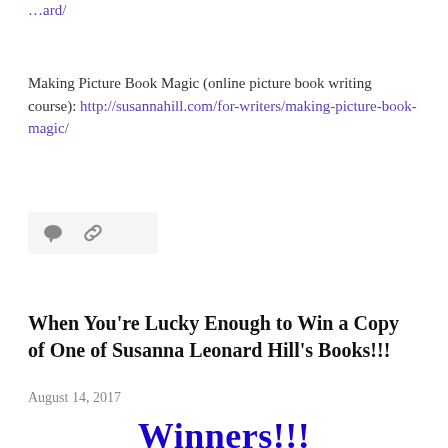…ard/
Making Picture Book Magic (online picture book writing course): http://susannahill.com/for-writers/making-picture-book-magic/
[Figure (other): Icon bar with comment bubble and chain link icons on a light grey background]
When You're Lucky Enough to Win a Copy of One of Susanna Leonard Hill's Books!!!
August 14, 2017
Winners!!!